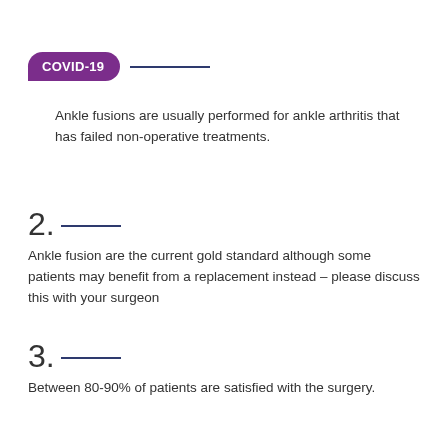COVID-19
Ankle fusions are usually performed for ankle arthritis that has failed non-operative treatments.
2. Ankle fusion are the current gold standard although some patients may benefit from a replacement instead – please discuss this with your surgeon
3. Between 80-90% of patients are satisfied with the surgery.